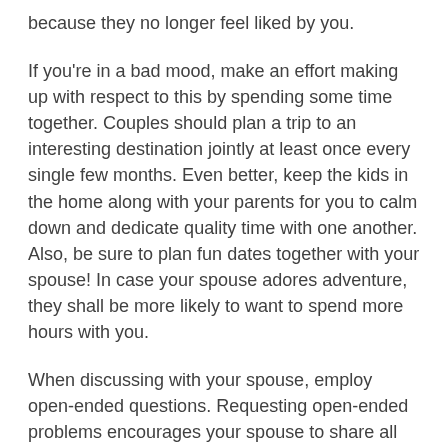because they no longer feel liked by you.
If you're in a bad mood, make an effort making up with respect to this by spending some time together. Couples should plan a trip to an interesting destination jointly at least once every single few months. Even better, keep the kids in the home along with your parents for you to calm down and dedicate quality time with one another. Also, be sure to plan fun dates together with your spouse! In case your spouse adores adventure, they shall be more likely to want to spend more hours with you.
When discussing with your spouse, employ open-ended questions. Requesting open-ended problems encourages your spouse to share all their opinions and feelings. Be sure to avoid using a demanding develop. Remember that that is a romantic relationship, and if you intend to stay near to your spouse, you've got to work on this. Try these kinds of marriage advice today! The one thing standing between you and a great marital life is yours. Take the time to find the ideal resource for your relationship and make your marriage the